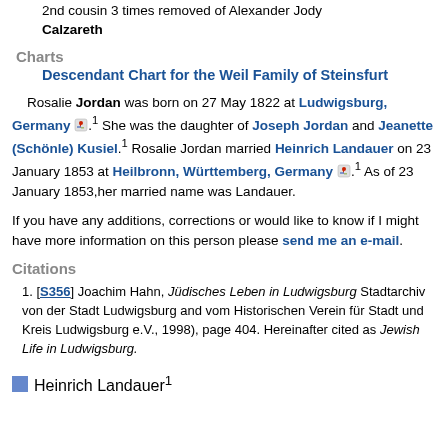2nd cousin 3 times removed of Alexander Jody Calzareth
Charts
Descendant Chart for the Weil Family of Steinsfurt
Rosalie Jordan was born on 27 May 1822 at Ludwigsburg, Germany. 1 She was the daughter of Joseph Jordan and Jeanette (Schönle) Kusiel. 1 Rosalie Jordan married Heinrich Landauer on 23 January 1853 at Heilbronn, Württemberg, Germany. 1 As of 23 January 1853,her married name was Landauer.
If you have any additions, corrections or would like to know if I might have more information on this person please send me an e-mail.
Citations
[S356] Joachim Hahn, Jüdisches Leben in Ludwigsburg Stadtarchiv von der Stadt Ludwigsburg and vom Historischen Verein für Stadt und Kreis Ludwigsburg e.V., 1998), page 404. Hereinafter cited as Jewish Life in Ludwigsburg.
Heinrich Landauer 1